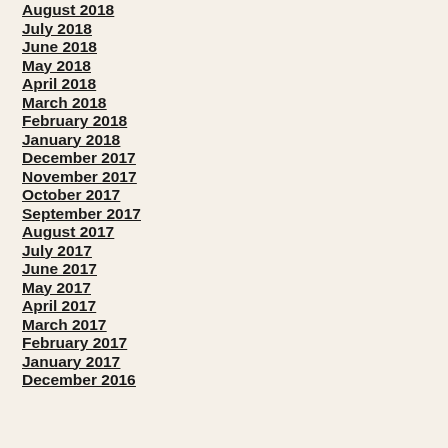August 2018
July 2018
June 2018
May 2018
April 2018
March 2018
February 2018
January 2018
December 2017
November 2017
October 2017
September 2017
August 2017
July 2017
June 2017
May 2017
April 2017
March 2017
February 2017
January 2017
December 2016